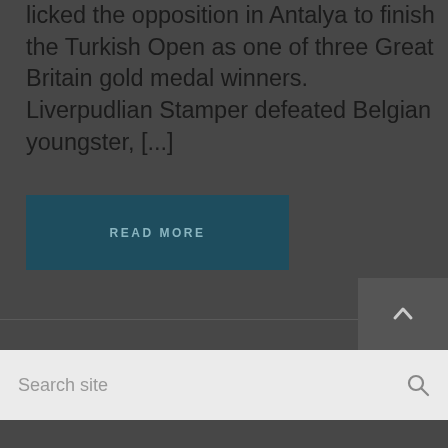licked the opposition in Antalya to finish the Turkish Open as one of three Great Britain gold medal winners. Liverpudlian Stamper defeated Belgian youngster, [...]
READ MORE
Search site